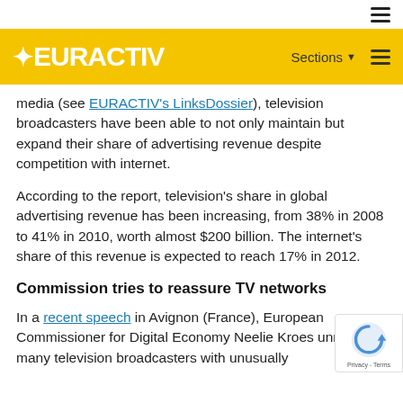EURACTIV (navigation bar with logo and Sections menu)
media (see EURACTIV's LinksDossier), television broadcasters have been able to not only maintain but expand their share of advertising revenue despite competition with internet.
According to the report, television's share in global advertising revenue has been increasing, from 38% in 2008 to 41% in 2010, worth almost $200 billion. The internet's share of this revenue is expected to reach 17% in 2012.
Commission tries to reassure TV networks
In a recent speech in Avignon (France), European Commissioner for Digital Economy Neelie Kroes unnerved many television broadcasters with unusually